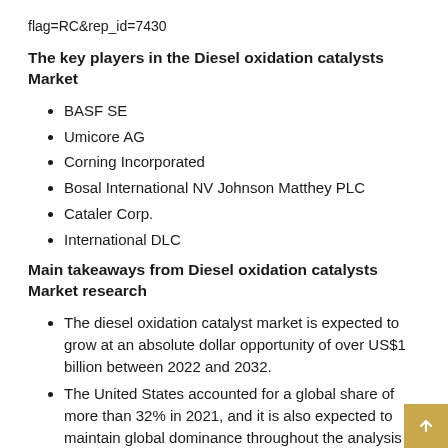flag=RC&rep_id=7430
The key players in the Diesel oxidation catalysts Market
BASF SE
Umicore AG
Corning Incorporated
Bosal International NV Johnson Matthey PLC
Cataler Corp.
International DLC
Main takeaways from Diesel oxidation catalysts Market research
The diesel oxidation catalyst market is expected to grow at an absolute dollar opportunity of over US$1 billion between 2022 and 2032.
The United States accounted for a global share of more than 32% in 2021, and it is also expected to maintain global dominance throughout the analysis period.